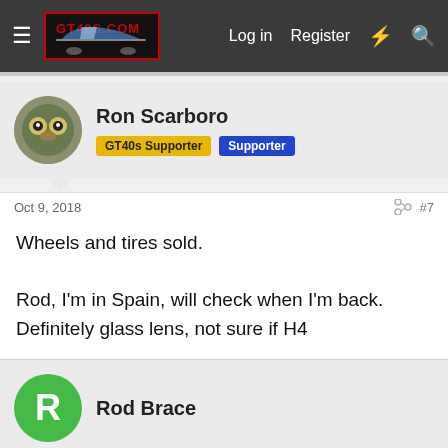GT40s.com — Log in   Register
Ron Scarboro
GT40s Supporter   Supporter
Oct 9, 2018   #7
Wheels and tires sold.

Rod, I'm in Spain, will check when I'm back. Definitely glass lens, not sure if H4
Rod Brace
Oct 10, 2018   #8
Ron Scarboro said: ↑